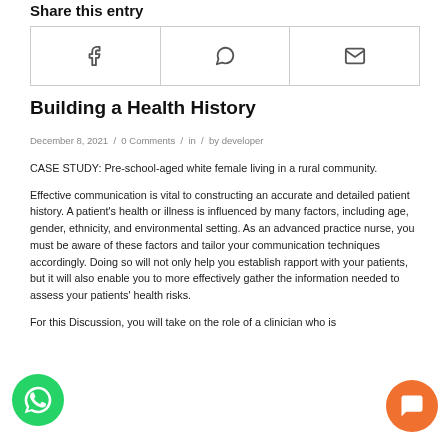Share this entry
[Figure (other): Share entry buttons: Facebook, WhatsApp, Email icons in a bordered row]
Building a Health History
December 8, 2021 / 0 Comments / in / by developer
CASE STUDY: Pre-school-aged white female living in a rural community.
Effective communication is vital to constructing an accurate and detailed patient history. A patient’s health or illness is influenced by many factors, including age, gender, ethnicity, and environmental setting. As an advanced practice nurse, you must be aware of these factors and tailor your communication techniques accordingly. Doing so will not only help you establish rapport with your patients, but it will also enable you to more effectively gather the information needed to assess your patients’ health risks.
For this Discussion, you will take on the role of a clinician who is